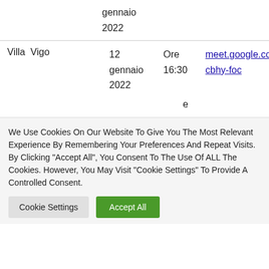gennaio
2022
Villa Vigo   12 gennaio 2022   Ore 16:30   meet.google.com/auy...cbhy-foc
e
We Use Cookies On Our Website To Give You The Most Relevant Experience By Remembering Your Preferences And Repeat Visits. By Clicking “Accept All”, You Consent To The Use Of ALL The Cookies. However, You May Visit "Cookie Settings" To Provide A Controlled Consent.
Cookie Settings
Accept All